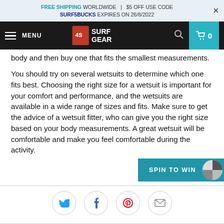FREE SHIPPING WORLDWIDE | $5 OFF USE CODE SURF5BUCKS EXPIRES ON 26/8/2022
[Figure (logo): Surf Gear logo with hamburger menu, navigation bar with search and cart icons]
body and then buy one that fits the smallest measurements.
You should try on several wetsuits to determine which one fits best. Choosing the right size for a wetsuit is important for your comfort and performance, and the wetsuits are available in a wide range of sizes and fits. Make sure to get the advice of a wetsuit fitter, who can give you the right size based on your body measurements. A great wetsuit will be comfortable and make you feel comfortable during the activity.
[Figure (other): Spin to Win button with pie chart wheel graphic]
[Figure (other): Social sharing icons: Twitter, Facebook, Pinterest, Email in circles]